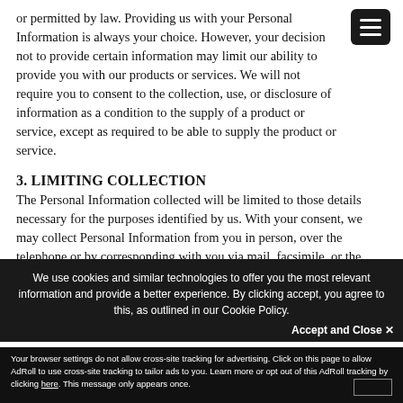or permitted by law. Providing us with your Personal Information is always your choice. However, your decision not to provide certain information may limit our ability to provide you with our products or services. We will not require you to consent to the collection, use, or disclosure of information as a condition to the supply of a product or service, except as required to be able to supply the product or service.
3. LIMITING COLLECTION
The Personal Information collected will be limited to those details necessary for the purposes identified by us. With your consent, we may collect Personal Information from you in person, over the telephone or by corresponding with you via mail, facsimile, or the Internet.
We use cookies and similar technologies to offer you the most relevant information and provide a better experience. By clicking accept, you agree to this, as outlined in our Cookie Policy.
Accept and Close ✕
Your browser settings do not allow cross-site tracking for advertising. Click on this page to allow AdRoll to use cross-site tracking to tailor ads to you. Learn more or opt out of this AdRoll tracking by clicking here. This message only appears once.